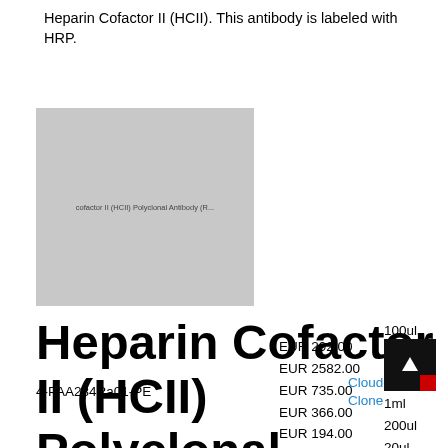Heparin Cofactor II (HCII). This antibody is labeled with HRP.
[Figure (photo): Product image placeholder for Heparin Cofactor II (HCII) Polyclonal Antibody (Rat) with watermark text]
Heparin Cofactor II (HCII) Polyclonal Antibody (Rat), PE
4-PAA284Ra01-PE
Cloud-Clone
EUR 292.00
EUR 2582.00
EUR 735.00
EUR 366.00
EUR 194.00
100ul
1ml
200ul
20ul